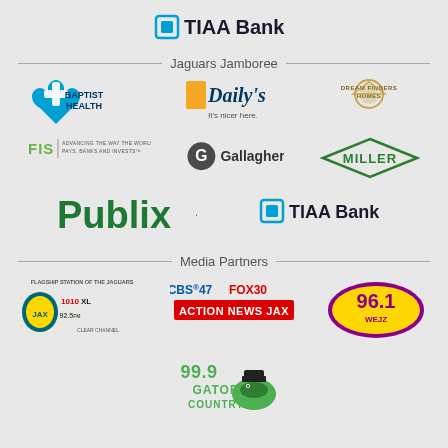[Figure (logo): TIAA Bank logo at top center]
Jaguars Jamboree
[Figure (logo): Baptist Health logo]
[Figure (logo): Daily's It's nicer here logo]
[Figure (logo): Dream Finders Homes logo]
[Figure (logo): FIS Advancing the way the world pays banks and invests logo]
[Figure (logo): Gallagher logo]
[Figure (logo): Miller diamond logo]
[Figure (logo): Publix logo]
[Figure (logo): TIAA Bank logo]
Media Partners
[Figure (logo): Flagship Station of the Jaguars 1010 XL 92.5 FM logo]
[Figure (logo): CBS 47 FOX30 Action News Jax logo]
[Figure (logo): 96.1 WEJZ logo]
[Figure (logo): 99.9 Gator Country logo]